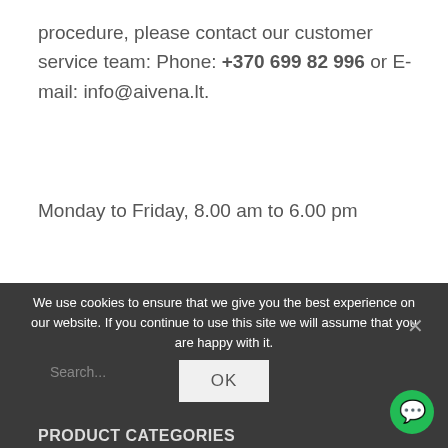procedure, please contact our customer service team: Phone: +370 699 82 996 or E-mail: info@aivena.lt.
Monday to Friday, 8.00 am to 6.00 pm
We use cookies to ensure that we give you the best experience on our website. If you continue to use this site we will assume that you are happy with it.
Search...
OK
PRODUCT CATEGORIES